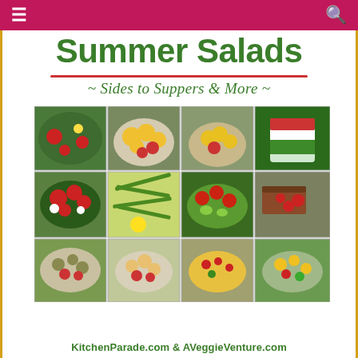≡  [search icon]
Summer Salads
~ Sides to Suppers & More ~
[Figure (photo): 3x4 grid of colorful summer salad photos including strawberry salads, corn salads, green bean salads, tomato salads, grain salads, and corn soup/dip]
KitchenParade.com & AVeggieVenture.com